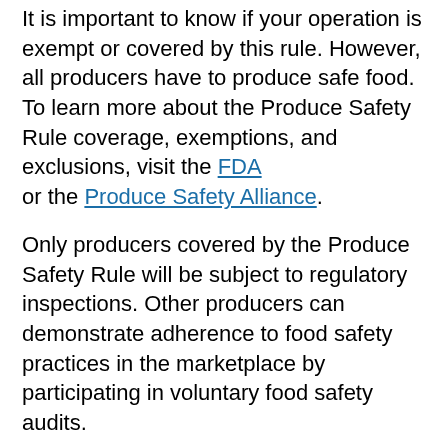It is important to know if your operation is exempt or covered by this rule. However, all producers have to produce safe food. To learn more about the Produce Safety Rule coverage, exemptions, and exclusions, visit the FDA or the Produce Safety Alliance.
Only producers covered by the Produce Safety Rule will be subject to regulatory inspections. Other producers can demonstrate adherence to food safety practices in the marketplace by participating in voluntary food safety audits.
Voluntary Food Safety certifications Good Agricultural Practices
The Good Agricultural Practices (GAP) certification is a voluntary third-party food safety audit that ensures fruits and vegetables are handled safely. It is offered by the USDA and by other private third-party certification